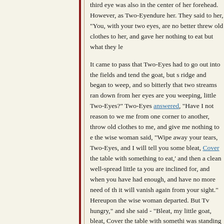third eye was also in the center of her forehead. However, as Two-Eyes endure her. They said to her, "You, with your two eyes, are no better threw old clothes to her, and gave her nothing to eat but what they le
It came to pass that Two-Eyes had to go out into the fields and tend the goat, but she ridge and began to weep, and so bitterly that two streams ran down from her eyes are you weeping, little Two-Eyes?" Two-Eyes answered, "Have I not reason to we me from one corner to another, throw old clothes to me, and give me nothing to e the wise woman said, "Wipe away your tears, Two-Eyes, and I will tell you some bleat, Cover the table with something to eat,' and then a clean well-spread little ta you are inclined for, and when you have had enough, and have no more need of th it will vanish again from your sight." Hereupon the wise woman departed. But Two hungry," and she said - "Bleat, my little goat, bleat, Cover the table with somethi was standing there, and on it was a plate with a knife and fork, and a silver spoon kitchen. Then Two-Eyes said the shortest prayer she knew, "Lord God, be our gue she said, as the wise woman had taught her - "Bleat, bleat, my little goat, I pray, A again. That is a delightful way of keeping house, thought Two-Eyes, and was qui
In the evening, when she went home with her goat, she found a small earthenware she again went out with her goat, and left the few bits of broken bread which had not notice it at all, but as it happened every time, they did observe it, and said, "T eat up everything that was given her, she must have discovered other ways of gett when she went to drive her goat to the pasture, to observe what Two-Eyes did wh
So when Two-Eyes set out the next time, One-Eye went to her and said, "I will go